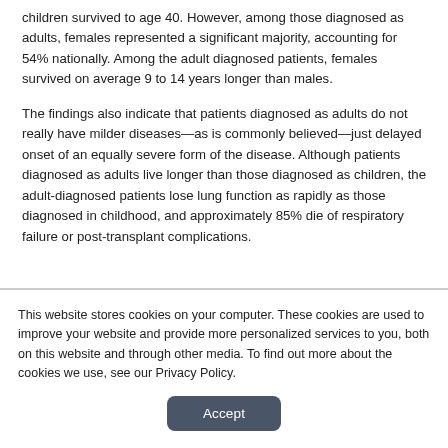children survived to age 40. However, among those diagnosed as adults, females represented a significant majority, accounting for 54% nationally. Among the adult diagnosed patients, females survived on average 9 to 14 years longer than males.
The findings also indicate that patients diagnosed as adults do not really have milder diseases—as is commonly believed—just delayed onset of an equally severe form of the disease. Although patients diagnosed as adults live longer than those diagnosed as children, the adult-diagnosed patients lose lung function as rapidly as those diagnosed in childhood, and approximately 85% die of respiratory failure or post-transplant complications.
This website stores cookies on your computer. These cookies are used to improve your website and provide more personalized services to you, both on this website and through other media. To find out more about the cookies we use, see our Privacy Policy.